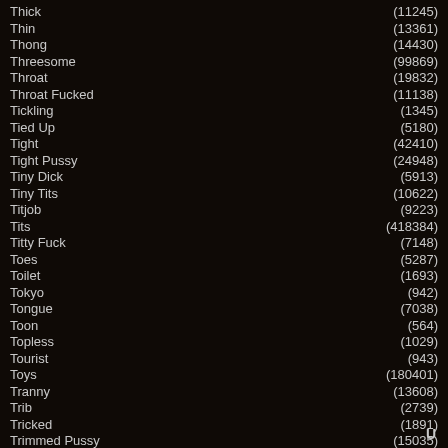Thick (11245)
Thin (13361)
Thong (14430)
Threesome (99869)
Throat (19832)
Throat Fucked (11138)
Tickling (1345)
Tied Up (5180)
Tight (42410)
Tight Pussy (24948)
Tiny Dick (5913)
Tiny Tits (10622)
Titjob (9223)
Tits (418384)
Titty Fuck (7148)
Toes (5287)
Toilet (1693)
Tokyo (942)
Tongue (7038)
Toon (564)
Topless (1029)
Tourist (943)
Toys (180401)
Tranny (13608)
Trib (2739)
Tricked (1891)
Trimmed Pussy (15035)
Tugjob (1670)
Twink (21777)
U